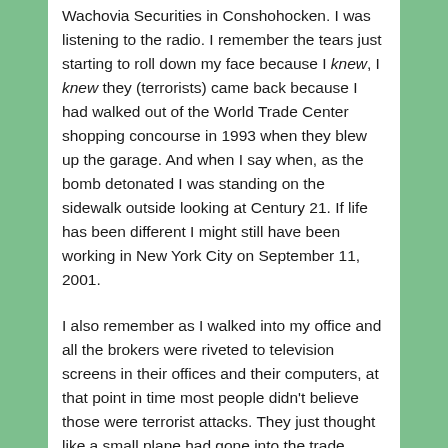Wachovia Securities in Conshohocken. I was listening to the radio. I remember the tears just starting to roll down my face because I knew, I knew they (terrorists) came back because I had walked out of the World Trade Center shopping concourse in 1993 when they blew up the garage. And when I say when, as the bomb detonated I was standing on the sidewalk outside looking at Century 21. If life has been different I might still have been working in New York City on September 11, 2001.
I also remember as I walked into my office and all the brokers were riveted to television screens in their offices and their computers, at that point in time most people didn't believe those were terrorist attacks. They just thought like a small plane had gone into the trade center. It was a crazy surreal morning as the news started to unfold. It's crazy how clearly I can still remember it. I think this is like it was for our parents the day that John F. Kennedy was assassinated. You remember where you were and what you were doing.
So it's been 19 years, what have we learned? I found this